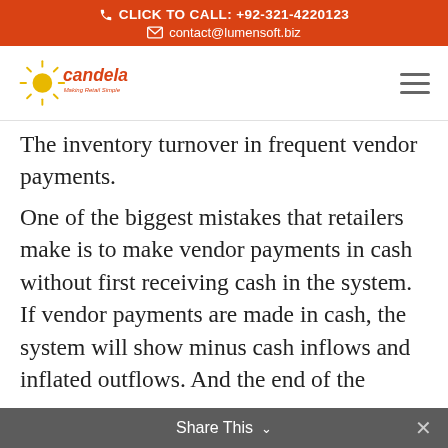CLICK TO CALL: +92-321-4220123 | contact@lumensoft.biz
[Figure (logo): Candela - Making Retail Simple logo with sun rays graphic]
The inventory turnover in frequent vendor payments. One of the biggest mistakes that retailers make is to make vendor payments in cash without first receiving cash in the system. If vendor payments are made in cash, the system will show minus cash inflows and inflated outflows. And the end of the
Share This ∨   ×